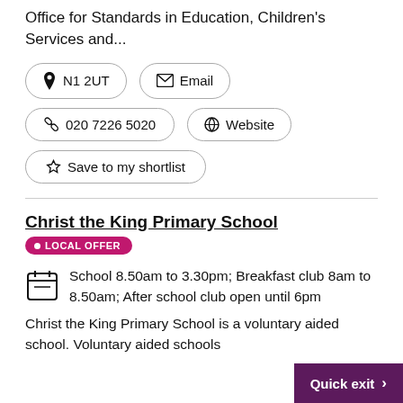Office for Standards in Education, Children's Services and...
N1 2UT
Email
020 7226 5020
Website
Save to my shortlist
Christ the King Primary School
LOCAL OFFER
School 8.50am to 3.30pm; Breakfast club 8am to 8.50am; After school club open until 6pm
Christ the King Primary School is a voluntary aided school. Voluntary aided schools